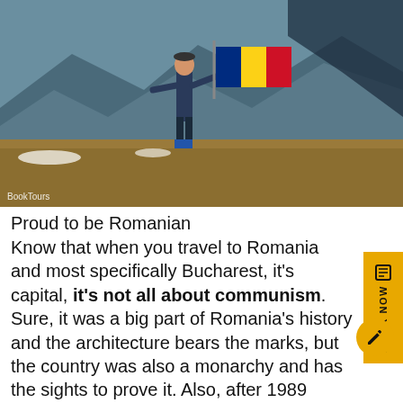[Figure (photo): A person standing on a hillside holding a Romanian flag (blue, yellow, red tricolor) with mountains and dry grass in the background. Snow patches visible on the ground. 'BookTours' watermark in bottom-left.]
Proud to be Romanian
Know that when you travel to Romania and most specifically Bucharest, it's capital, it's not all about communism. Sure, it was a big part of Romania's history and the architecture bears the marks, but the country was also a monarchy and has the sights to prove it. Also, after 1989 when Romania became a democracy, the newfound freedom translated into more nightclubs, hip meeting places, modern establishments and everything that has to do with an open market